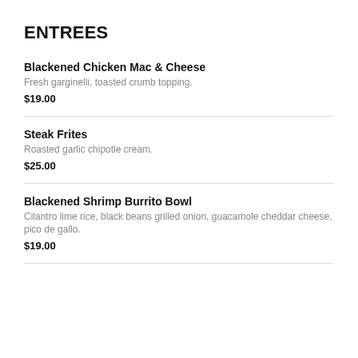ENTREES
Blackened Chicken Mac & Cheese
Fresh garginelli, toasted crumb topping.
$19.00
Steak Frites
Roasted garlic chipotle cream.
$25.00
Blackened Shrimp Burrito Bowl
Cilantro lime rice, black beans grilled onion, guacamole cheddar cheese, pico de gallo.
$19.00